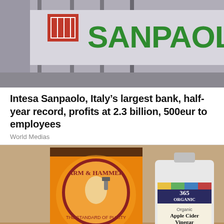[Figure (photo): Intesa Sanpaolo bank sign with green letters on building facade, partial red logo visible]
Intesa Sanpaolo, Italy’s largest bank, half-year record, profits at 2.3 billion, 500eur to employees
World Medias
[Figure (photo): Arm & Hammer Pure Baking Soda box next to 365 Organic Apple Cider Vinegar bottle with red apples]
Drink This Delicious Beverage Before Breakfast And Lose Your Belly Fat Like